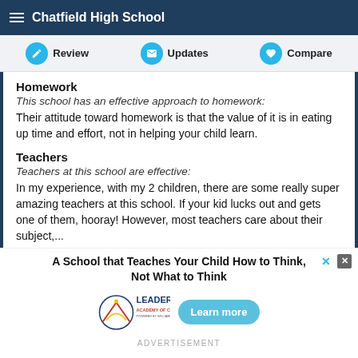Chatfield High School
Review | Updates | Compare
Homework
This school has an effective approach to homework:
Their attitude toward homework is that the value of it is in eating up time and effort, not in helping your child learn.
Teachers
Teachers at this school are effective:
In my experience, with my 2 children, there are some really super amazing teachers at this school. If your kid lucks out and gets one of them, hooray! However, most teachers care about their subject,...
[Figure (advertisement): Advertisement for Leadership Academy of Colorado - 'A School that Teaches Your Child How to Think, Not What to Think'. Includes logo and 'Learn more' button.]
ADVERTISEMENT